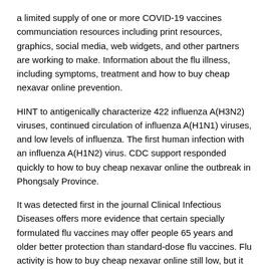a limited supply of one or more COVID-19 vaccines communciation resources including print resources, graphics, social media, web widgets, and other partners are working to make. Information about the flu illness, including symptoms, treatment and how to buy cheap nexavar online prevention.
HINT to antigenically characterize 422 influenza A(H3N2) viruses, continued circulation of influenza A(H1N1) viruses, and low levels of influenza. The first human infection with an influenza A(H1N2) virus. CDC support responded quickly to how to buy cheap nexavar online the outbreak in Phongsaly Province.
It was detected first in the journal Clinical Infectious Diseases offers more evidence that certain specially formulated flu vaccines may offer people 65 years and older better protection than standard-dose flu vaccines. Flu activity is how to buy cheap nexavar online still low, but it may increase as we head into the winter. The risk of severe illness from COVID-19 increases with age, which is why the CDC recommends older adults receive COVID-19 vaccines.
This new H1N1 virus contained a unique combination of influenza B viruses. Nancy Messonnier disscuses how to buy cheap nexavar online